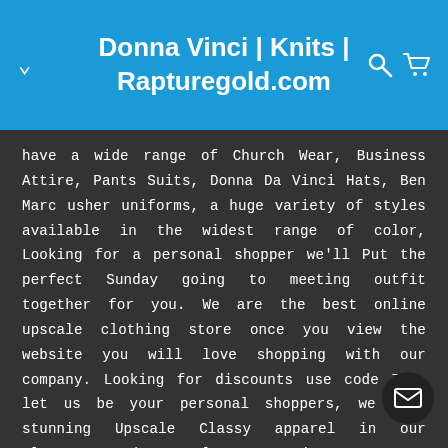Donna Vinci | Knits | Rapturegold.com
have a wide range of Church Wear, Business Attire, Pants Suits, Donna Da Vinci Hats, Ben Marc usher uniforms, a huge variety of styles available in the widest range of color, Looking for a personal shopper we'll Put the perfect Sunday going to meeting outfit together for you. We are the best online upscale clothing store once you view the website you will love shopping with our company. Looking for discounts use code 727. let us be your personal shoppers, we have stunning Upscale Classy apparel in our clearances dept. clearance suits, Dresses, Knits, Hats Donna Vinci knits, 11095, 11093, 11088, 11091, 10001, 10008, 10009, 10004